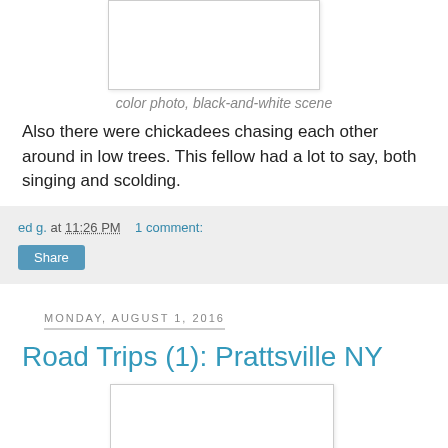[Figure (photo): Placeholder for a photo (top, partially visible, white/blank area with border)]
color photo, black-and-white scene
Also there were chickadees chasing each other around in low trees. This fellow had a lot to say, both singing and scolding.
ed g. at 11:26 PM    1 comment:
Share
Monday, August 1, 2016
Road Trips (1): Prattsville NY
[Figure (photo): Placeholder for a photo (bottom, partially visible, white/blank area with border)]